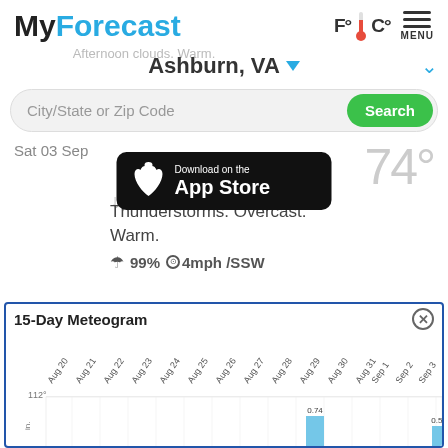MyForecast
[Figure (logo): F°C° thermometer temperature unit toggle badge with red thermometer icon]
[Figure (infographic): Hamburger menu icon with MENU label]
Afternoon clouds. Warm.
Ashburn, VA ▼
City/State or Zip Code
Search
[Figure (screenshot): Download on the App Store badge (black rounded rectangle with Apple logo)]
Sat 03 Sep
74°
Thunderstorms. Overcast. Warm.
☂ 99% ⊙4mph /SSW
15-Day Meteogram
[Figure (bar-chart): Precipitation bar chart showing 0.74 inches on Aug 29 and 0.51 inches on Sep 3]